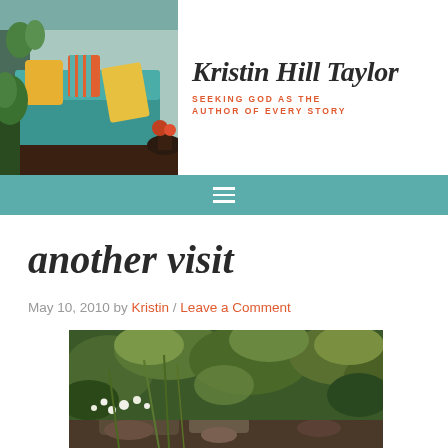[Figure (photo): Blog header photo showing a teal porch bench with colorful cushions and pillows, potted plants on a porch]
Kristin Hill Taylor
SEEKING GOD AS THE AUTHOR OF EVERY STORY
[Figure (other): Teal navigation bar with hamburger menu icon]
another visit
May 10, 2010 by Kristin / Leave a Comment
[Figure (photo): Garden scene with creek, green foliage, and small white flowers]